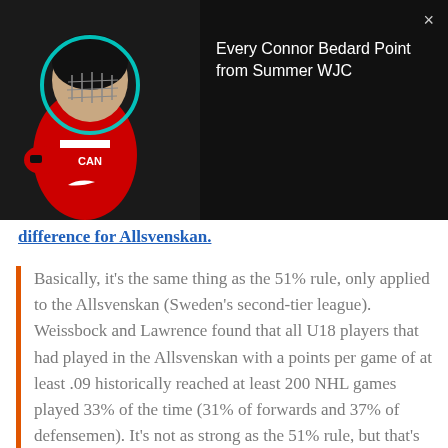[Figure (screenshot): Video overlay showing a hockey player (Connor Bedard) with a circular highlight around his face, on a dark background. HUD bar visible at top left. Video title panel on the right reads 'Every Connor Bedard Point from Summer WJC' with a close button (×).]
difference for Allsvenskan.
Basically, it's the same thing as the 51% rule, only applied to the Allsvenskan (Sweden's second-tier league). Weissbock and Lawrence found that all U18 players that had played in the Allsvenskan with a points per game of at least .09 historically reached at least 200 NHL games played 33% of the time (31% of forwards and 37% of defensemen). It's not as strong as the 51% rule, but that's still a very good